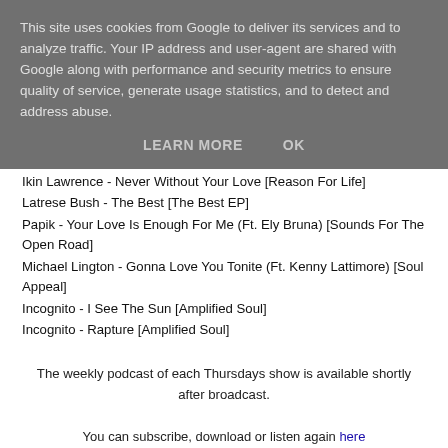This site uses cookies from Google to deliver its services and to analyze traffic. Your IP address and user-agent are shared with Google along with performance and security metrics to ensure quality of service, generate usage statistics, and to detect and address abuse.
LEARN MORE   OK
Ikin Lawrence - Never Without Your Love [Reason For Life]
Latrese Bush - The Best [The Best EP]
Papik - Your Love Is Enough For Me (Ft. Ely Bruna) [Sounds For The Open Road]
Michael Lington - Gonna Love You Tonite (Ft. Kenny Lattimore) [Soul Appeal]
Incognito - I See The Sun [Amplified Soul]
Incognito - Rapture [Amplified Soul]
The weekly podcast of each Thursdays show is available shortly after broadcast.
You can subscribe, download or listen again here